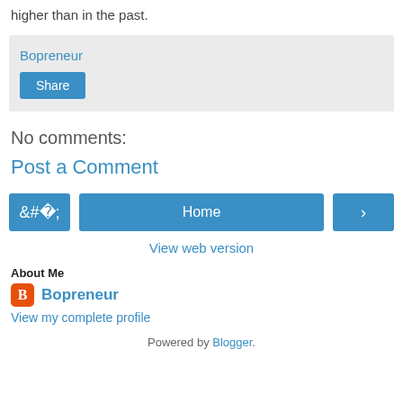higher than in the past.
Bopreneur
Share
No comments:
Post a Comment
‹  Home  ›
View web version
About Me
Bopreneur
View my complete profile
Powered by Blogger.